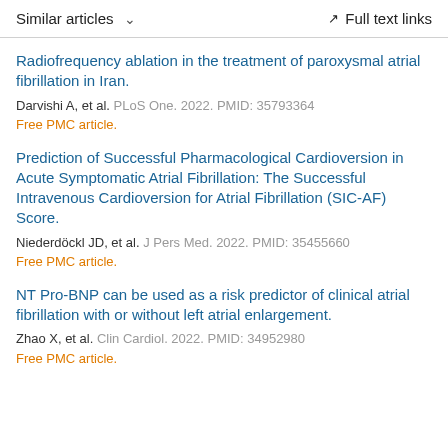Similar articles   ∨   Full text links
Radiofrequency ablation in the treatment of paroxysmal atrial fibrillation in Iran.
Darvishi A, et al. PLoS One. 2022. PMID: 35793364
Free PMC article.
Prediction of Successful Pharmacological Cardioversion in Acute Symptomatic Atrial Fibrillation: The Successful Intravenous Cardioversion for Atrial Fibrillation (SIC-AF) Score.
Niederdöckl JD, et al. J Pers Med. 2022. PMID: 35455660
Free PMC article.
NT Pro-BNP can be used as a risk predictor of clinical atrial fibrillation with or without left atrial enlargement.
Zhao X, et al. Clin Cardiol. 2022. PMID: 34952980
Free PMC article.